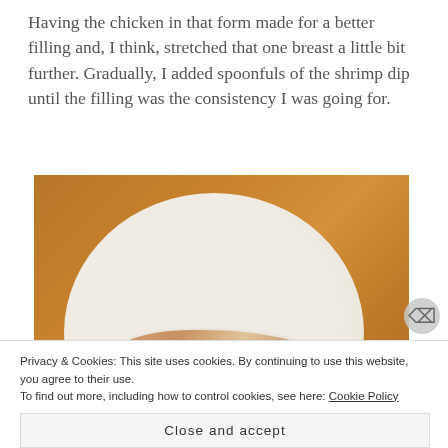Having the chicken in that form made for a better filling and, I think, stretched that one breast a little bit further. Gradually, I added spoonfuls of the shrimp dip until the filling was the consistency I was going for.
[Figure (photo): A flour tortilla on a wooden cutting board with a creamy chicken and shrimp filling spread in the center.]
Privacy & Cookies: This site uses cookies. By continuing to use this website, you agree to their use. To find out more, including how to control cookies, see here: Cookie Policy
Close and accept